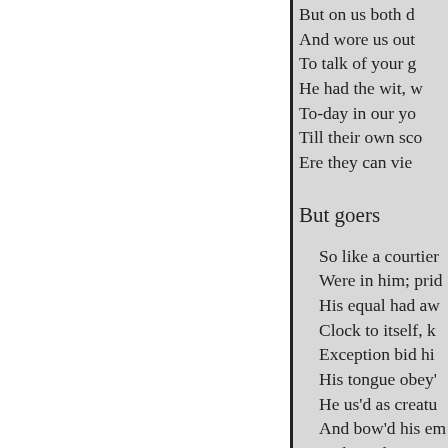But on us both did haggish age steal on,
And wore us out of act. It much repairs me
To talk of your good father. In his youth
He had the wit, which I can well observe
To-day in our young lords; but they may jest
Till their own scorn return to them unnoted
Ere they can vie with him for merit.
But goers
So like a courtier, contempt nor bitterness
Were in him; pride, which I could well observe,
His equal had awed them; he was like a
Clock to itself, knew the true minute when
Exception bid him speak, and at this time
His tongue obey'd his hand; who were below him
He us'd as creatures of another place;
And bow'd his eminent top to their low ranks,
Making them proud of his humility,
 In their poor praise he humbled; such a man
Might be a copy to these younger times;
Which, follow'd well, would demonstrate them now